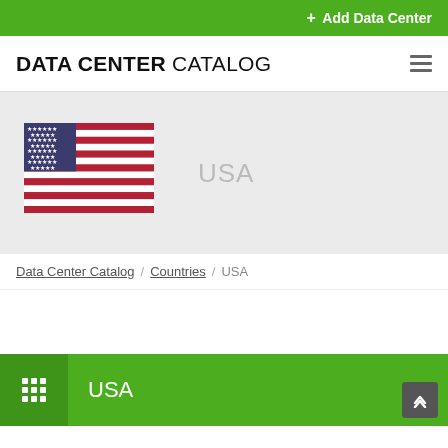+ Add Data Center
DATA CENTER CATALOG
[Figure (illustration): USA flag image with red, white, and blue stripes and stars, displayed alongside the text 'USA' in light gray]
Data Center Catalog / Countries / USA
USA